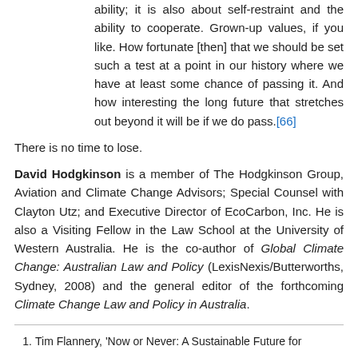ability; it is also about self-restraint and the ability to cooperate. Grown-up values, if you like. How fortunate [then] that we should be set such a test at a point in our history where we have at least some chance of passing it. And how interesting the long future that stretches out beyond it will be if we do pass.[66]
There is no time to lose.
David Hodgkinson is a member of The Hodgkinson Group, Aviation and Climate Change Advisors; Special Counsel with Clayton Utz; and Executive Director of EcoCarbon, Inc. He is also a Visiting Fellow in the Law School at the University of Western Australia. He is the co-author of Global Climate Change: Australian Law and Policy (LexisNexis/Butterworths, Sydney, 2008) and the general editor of the forthcoming Climate Change Law and Policy in Australia.
1.  Tim Flannery, 'Now or Never: A Sustainable Future for